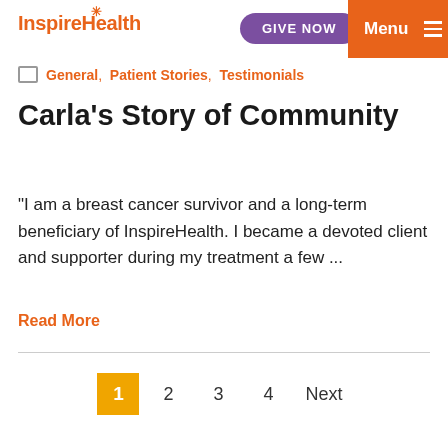InspireHealth | GIVE NOW | Menu
General,  Patient Stories,  Testimonials
Carla's Story of Community
"I am a breast cancer survivor and a long-term beneficiary of InspireHealth. I became a devoted client and supporter during my treatment a few ...
Read More
1  2  3  4  Next